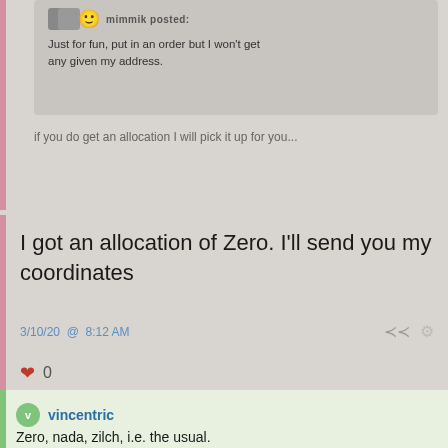Just for fun, put in an order but I won't get any given my address.
if you do get an allocation I will pick it up for you...
I got an allocation of Zero. I'll send you my coordinates
3/10/20 @ 8:12 AM
0
vincentric
Zero, nada, zilch, i.e. the usual.